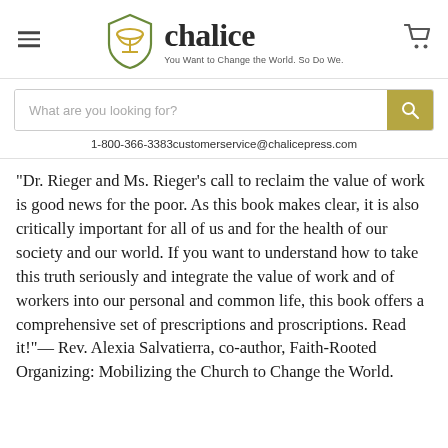[Figure (logo): Chalice Press logo with chalice icon, brand name 'chalice' in bold serif, and tagline 'You Want to Change the World. So Do We.']
What are you looking for?
1-800-366-3383customerservice@chalicepress.com
"Dr. Rieger and Ms. Rieger’s call to reclaim the value of work is good news for the poor. As this book makes clear, it is also critically important for all of us and for the health of our society and our world. If you want to understand how to take this truth seriously and integrate the value of work and of workers into our personal and common life, this book offers a comprehensive set of prescriptions and proscriptions. Read it!"— Rev. Alexia Salvatierra, co-author, Faith-Rooted Organizing: Mobilizing the Church to Change the World.